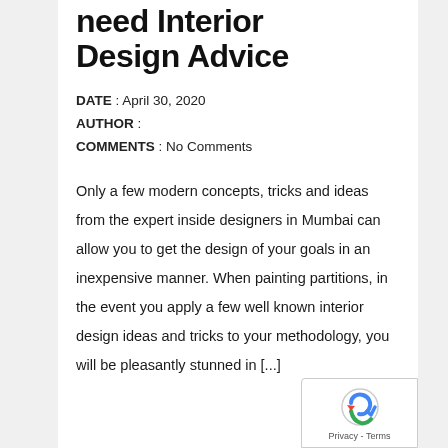need Interior Design Advice
DATE : April 30, 2020
AUTHOR :
COMMENTS : No Comments
Only a few modern concepts, tricks and ideas from the expert inside designers in Mumbai can allow you to get the design of your goals in an inexpensive manner. When painting partitions, in the event you apply a few well known interior design ideas and tricks to your methodology, you will be pleasantly stunned in [...]